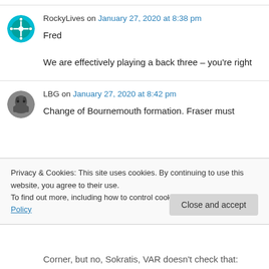RockyLives on January 27, 2020 at 8:38 pm
Fred

We are effectively playing a back three – you're right
LBG on January 27, 2020 at 8:42 pm
Change of Bournemouth formation. Fraser must
Privacy & Cookies: This site uses cookies. By continuing to use this website, you agree to their use.
To find out more, including how to control cookies, see here: Cookie Policy
Close and accept
Corner, but no, Sokratis, VAR doesn't check that: